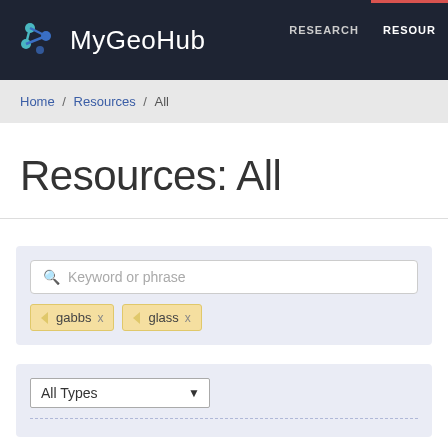MyGeoHub — RESEARCH | RESOURCES
Home / Resources / All
Resources: All
Keyword or phrase
gabbs x   glass x
All Types